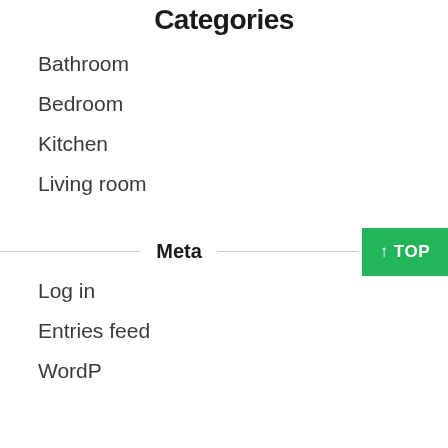Categories
Bathroom
Bedroom
Kitchen
Living room
Meta
Log in
Entries feed
WordP...